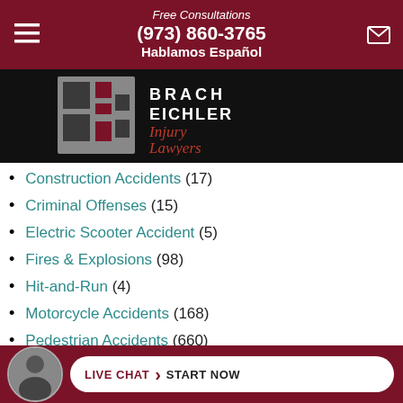Free Consultations
(973) 860-3765
Hablamos Español
[Figure (logo): Brach Eichler Injury Lawyers logo with stylized BE monogram in red and grey]
Construction Accidents (17)
Criminal Offenses (15)
Electric Scooter Accident (5)
Fires & Explosions (98)
Hit-and-Run (4)
Motorcycle Accidents (168)
Pedestrian Accidents (660)
Personal Injury (180)
Pre... (partially visible)
LIVE CHAT › START NOW